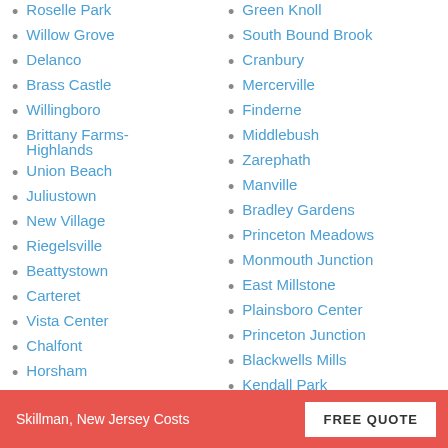Roselle Park
Willow Grove
Delanco
Brass Castle
Willingboro
Brittany Farms-Highlands
Union Beach
Juliustown
New Village
Riegelsville
Beattystown
Carteret
Vista Center
Chalfont
Horsham
Fort Dix
Green Knoll
South Bound Brook
Cranbury
Mercerville
Finderne
Middlebush
Zarephath
Manville
Bradley Gardens
Princeton Meadows
Monmouth Junction
East Millstone
Plainsboro Center
Princeton Junction
Blackwells Mills
Kendall Park
Heathcote
Skillman, New Jersey Costs  FREE QUOTE